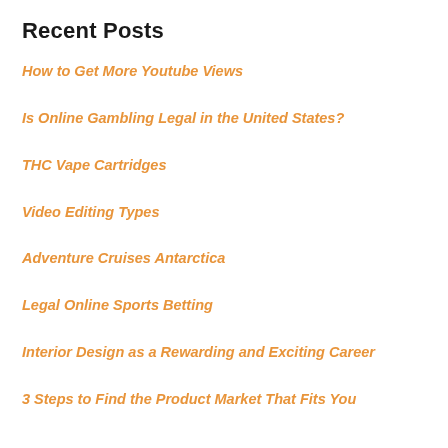Recent Posts
How to Get More Youtube Views
Is Online Gambling Legal in the United States?
THC Vape Cartridges
Video Editing Types
Adventure Cruises Antarctica
Legal Online Sports Betting
Interior Design as a Rewarding and Exciting Career
3 Steps to Find the Product Market That Fits You